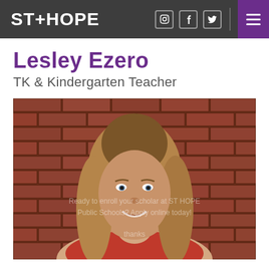ST+HOPE
Lesley Ezero
TK & Kindergarten Teacher
[Figure (photo): Headshot photo of Lesley Ezero, a young woman with long straight blonde-brown hair, smiling, standing in front of a red brick wall. She is wearing a red patterned top. A watermark overlay reads: Ready to enroll your scholar at ST HOPE Public Schools? Apply online today! thanks]